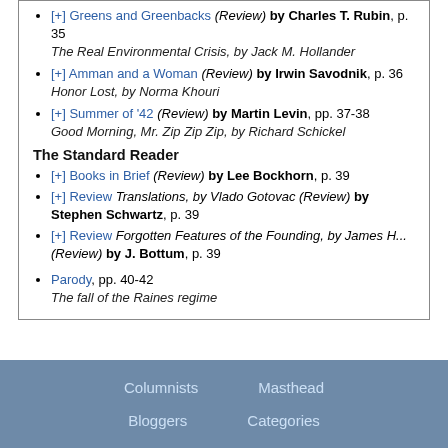[+] Greens and Greenbacks (Review) by Charles T. Rubin, p. 35 — The Real Environmental Crisis, by Jack M. Hollander
[+] Amman and a Woman (Review) by Irwin Savodnik, p. 36 — Honor Lost, by Norma Khouri
[+] Summer of '42 (Review) by Martin Levin, pp. 37-38 — Good Morning, Mr. Zip Zip Zip, by Richard Schickel
The Standard Reader
[+] Books in Brief (Review) by Lee Bockhorn, p. 39
[+] Review Translations, by Vlado Gotovac (Review) by Stephen Schwartz, p. 39
[+] Review Forgotten Features of the Founding, by James H... (Review) by J. Bottum, p. 39
Parody, pp. 40-42 — The fall of the Raines regime
Columnists   Masthead   Bloggers   Categories